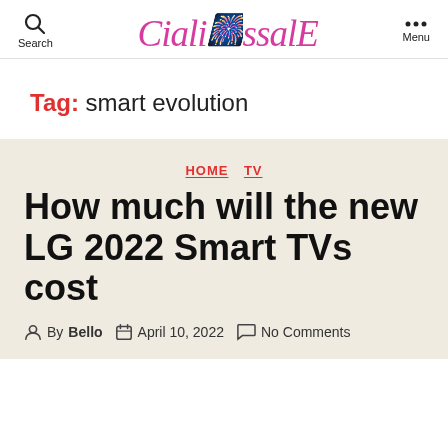Search  CialisissalE  Menu
Tag:  smart evolution
HOME  TV
How much will the new LG 2022 Smart TVs cost
By Bello  April 10, 2022  No Comments